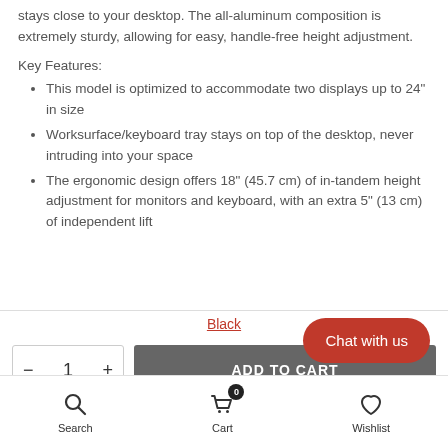stays close to your desktop. The all-aluminum composition is extremely sturdy, allowing for easy, handle-free height adjustment.
Key Features:
This model is optimized to accommodate two displays up to 24" in size
Worksurface/keyboard tray stays on top of the desktop, never intruding into your space
The ergonomic design offers 18" (45.7 cm) of in-tandem height adjustment for monitors and keyboard, with an extra 5" (13 cm) of independent lift
Black
- 1 + ADD TO CART
Chat with us
Search
Cart
Wishlist